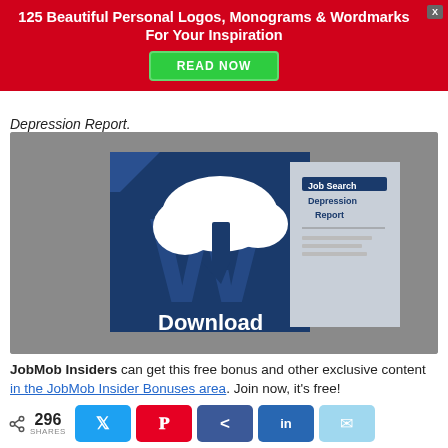[Figure (infographic): Red advertisement banner: '125 Beautiful Personal Logos, Monograms & Wordmarks For Your Inspiration' with a green 'READ NOW' button and X close button]
Depression Report.
[Figure (screenshot): Download graphic showing Microsoft Word logo with a cloud/download icon and text 'Download', alongside a preview of 'Job Search Depression Report' document]
JobMob Insiders can get this free bonus and other exclusive content in the JobMob Insider Bonuses area. Join now, it's free!
296 SHARES [Twitter] [Pinterest] [Facebook] [LinkedIn] [Email]